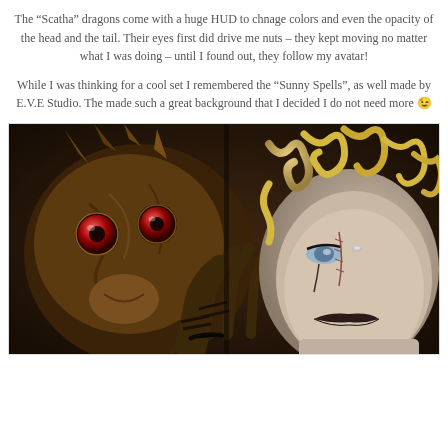The “Scatha” dragons come with a huge HUD to chnage colors and even the opacity of the head and the tail. Their eyes first did drive me nuts – they kept moving no matter what I was doing – until I found out, they follow my avatar!
While I was thinking for a cool set I remembered the “Sunny Spells”, as well made by E.V.E Studio. The made such a great background that I decided I do not need more 😉
[Figure (illustration): A dark fantasy digital artwork showing a dragon creature with large red eyes on the left, and a pale female avatar with blonde curly hair, blue eyes, and dark lips on the right. The dragon's claw-like hand is near the woman's face.]